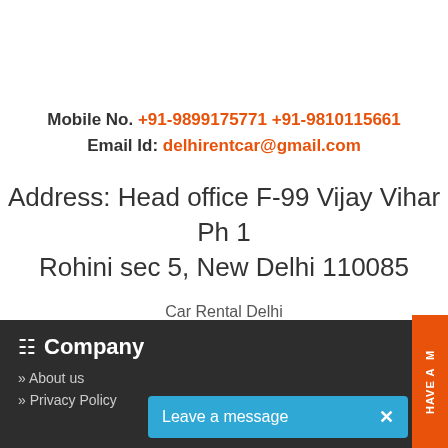Mobile No. +91-9899175771 +91-9810115661
Email Id: delhirentcar@gmail.com
Address: Head office F-99 Vijay Vihar Ph 1 Rohini sec 5, New Delhi 110085
Car Rental Delhi
Rated 5/5 based on 3658 reviews
Company
About us
Privacy Policy